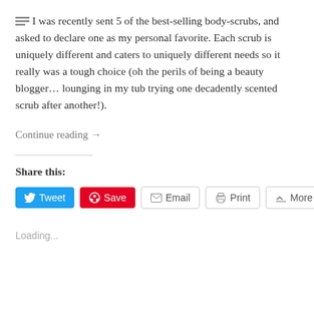I was recently sent 5 of the best-selling body-scrubs, and asked to declare one as my personal favorite. Each scrub is uniquely different and caters to uniquely different needs so it really was a tough choice (oh the perils of being a beauty blogger… lounging in my tub trying one decadently scented scrub after another!).
Continue reading →
Share this:
Loading...